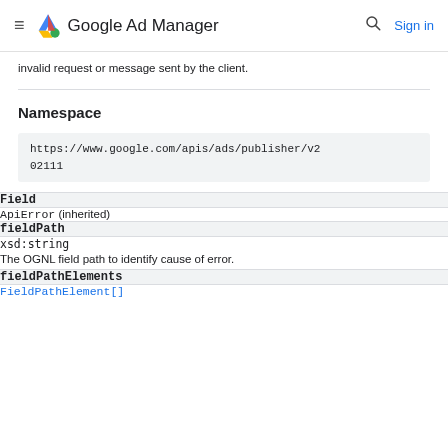Google Ad Manager
invalid request or message sent by the client.
Namespace
https://www.google.com/apis/ads/publisher/v202111
| Field |
| --- |
| ApiError (inherited) |
| fieldPath | xsd:string | The OGNL field path to identify cause of error. |
| fieldPathElements | FieldPathElement[] |